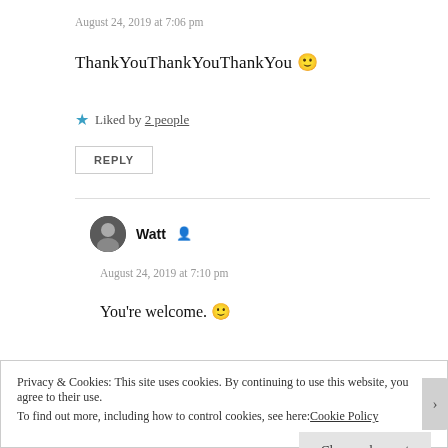August 24, 2019 at 7:06 pm
ThankYouThankYouThankYou 🙂
★ Liked by 2 people
REPLY
Watt
August 24, 2019 at 7:10 pm
You're welcome. 🙂
Privacy & Cookies: This site uses cookies. By continuing to use this website, you agree to their use. To find out more, including how to control cookies, see here: Cookie Policy
Close and accept